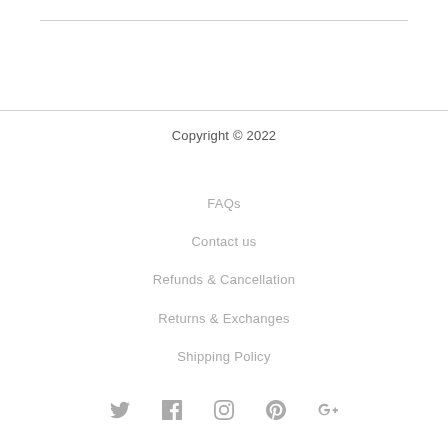Copyright © 2022
FAQs
Contact us
Refunds & Cancellation
Returns & Exchanges
Shipping Policy
[Figure (other): Social media icons: Twitter, Facebook, Instagram, Pinterest, Google+]